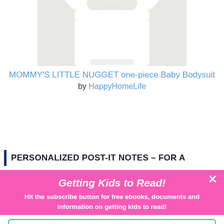[Figure (photo): White baby bodysuit/onesie product photo on a light gray background, partially cropped at top]
MOMMY'S LITTLE NUGGET one-piece Baby Bodysuit by HappyHomeLife
PERSONALIZED POST-IT NOTES – FOR A
Getting Kids to Read!
Hit the subscribe button for free ebooks, documents and information on getting kids to read!
Reading-love.com
Email
SUBSCRIBE